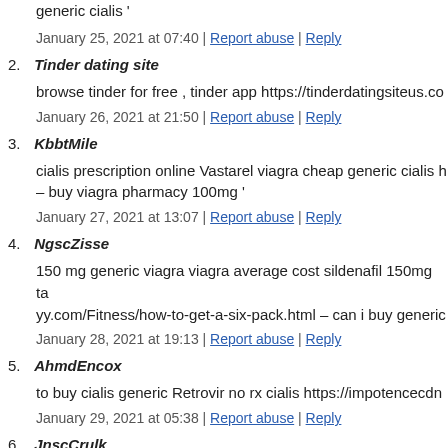generic cialis '
January 25, 2021 at 07:40 | Report abuse | Reply
2. Tinder dating site
browse tinder for free , tinder app https://tinderdatingsiteus.co…
January 26, 2021 at 21:50 | Report abuse | Reply
3. KbbtMile
cialis prescription online Vastarel viagra cheap generic cialis h… – buy viagra pharmacy 100mg '
January 27, 2021 at 13:07 | Report abuse | Reply
4. NgscZisse
150 mg generic viagra viagra average cost sildenafil 150mg ta… yy.com/Fitness/how-to-get-a-six-pack.html – can i buy generic…
January 28, 2021 at 19:13 | Report abuse | Reply
5. AhmdEncox
to buy cialis generic Retrovir no rx cialis https://impotencecdn…
January 29, 2021 at 05:38 | Report abuse | Reply
6. JnscCrulk